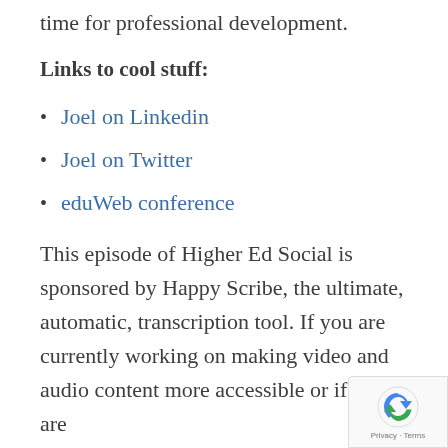time for professional development.
Links to cool stuff:
Joel on Linkedin
Joel on Twitter
eduWeb conference
This episode of Higher Ed Social is sponsored by Happy Scribe, the ultimate, automatic, transcription tool. If you are currently working on making video and audio content more accessible or if you are